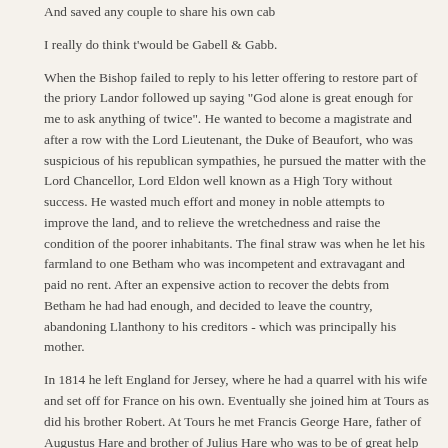And saved any couple to share his own cab
I really do think t'would be Gabell & Gabb.
When the Bishop failed to reply to his letter offering to restore part of the priory Landor followed up saying "God alone is great enough for me to ask anything of twice". He wanted to become a magistrate and after a row with the Lord Lieutenant, the Duke of Beaufort, who was suspicious of his republican sympathies, he pursued the matter with the Lord Chancellor, Lord Eldon well known as a High Tory without success. He wasted much effort and money in noble attempts to improve the land, and to relieve the wretchedness and raise the condition of the poorer inhabitants. The final straw was when he let his farmland to one Betham who was incompetent and extravagant and paid no rent. After an expensive action to recover the debts from Betham he had had enough, and decided to leave the country, abandoning Llanthony to his creditors - which was principally his mother.
In 1814 he left England for Jersey, where he had a quarrel with his wife and set off for France on his own. Eventually she joined him at Tours as did his brother Robert. At Tours he met Francis George Hare, father of Augustus Hare and brother of Julius Hare who was to be of great help to him. Landor soon became dissatisfied with Tours and after tremendous conflicts with his landlady set off in September 1815 with his wife and brother on a tempestuous journey to Italy.
Florence and Imaginary Conversations